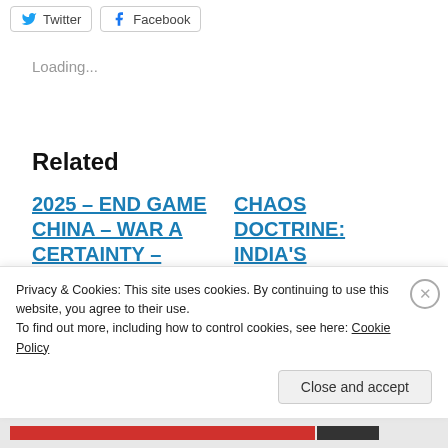[Figure (other): Twitter and Facebook share buttons at top of page]
Loading...
Related
2025 – END GAME CHINA – WAR A CERTAINTY – PART 1
CHAOS DOCTRINE: INDIA'S BRAHMASTRA AGAINST CHINA
Privacy & Cookies: This site uses cookies. By continuing to use this website, you agree to their use.
To find out more, including how to control cookies, see here: Cookie Policy
Close and accept